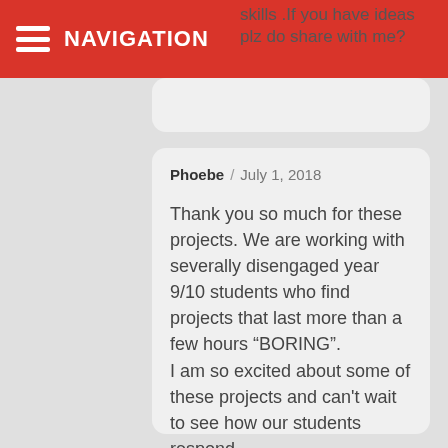NAVIGATION
skills .If you have ideas plz do share with me?
Phoebe / July 1, 2018

Thank you so much for these projects. We are working with severally disengaged year 9/10 students who find projects that last more than a few hours “BORING”.
I am so excited about some of these projects and can’t wait to see how our students respond.